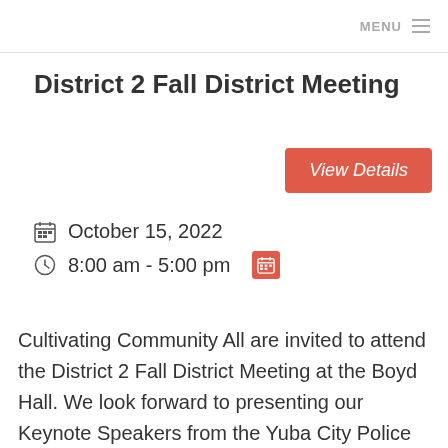MENU
District 2 Fall District Meeting
View Details
October 15, 2022
8:00 am - 5:00 pm
Cultivating Community All are invited to attend the District 2 Fall District Meeting at the Boyd Hall. We look forward to presenting our Keynote Speakers from the Yuba City Police Department to speak about